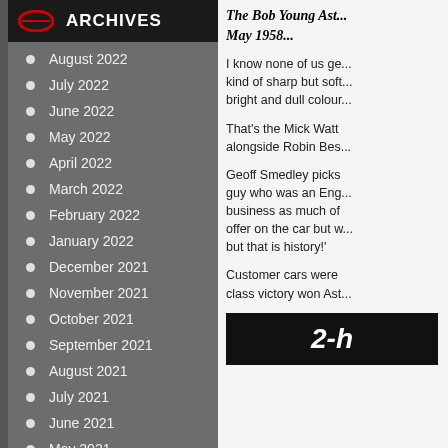ARCHIVES
August 2022
July 2022
June 2022
May 2022
April 2022
March 2022
February 2022
January 2022
December 2021
November 2021
October 2021
September 2021
August 2021
July 2021
June 2021
May 2021
April 2021
March 2021
February 2021
The Bob Young Ast... May 1958...
I know none of us ge... kind of sharp but soft bright and dull colour
That's the Mick Watt alongside Robin Bes...
Geoff Smedley picks guy who was an Eng... business as much of offer on the car but w... but that is history!'
Customer cars were class victory won Ast...
[Figure (photo): Dark image showing '2-h' text in white italic font on black background]